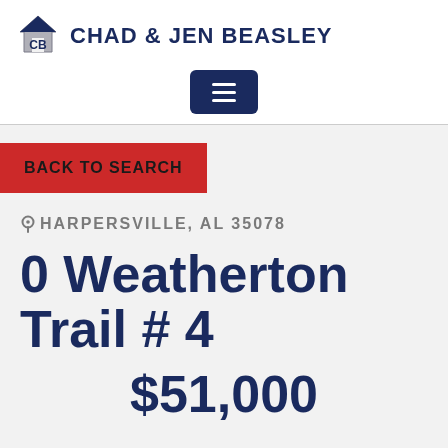CHAD & JEN BEASLEY
[Figure (logo): Chad & Jen Beasley real estate logo with house icon and CB monogram]
BACK TO SEARCH
HARPERSVILLE, AL 35078
0 Weatherton Trail # 4
$51,000